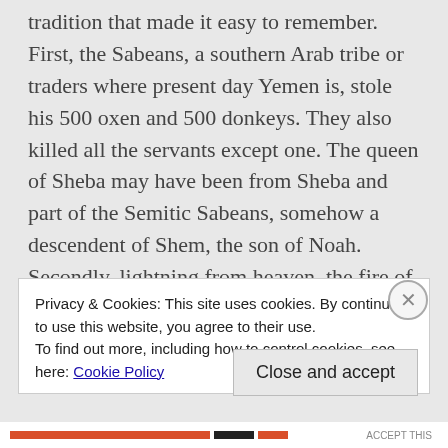tradition that made it easy to remember. First, the Sabeans, a southern Arab tribe or traders where present day Yemen is, stole his 500 oxen and 500 donkeys. They also killed all the servants except one. The queen of Sheba may have been from Sheba and part of the Semitic Sabeans, somehow a descendent of Shem, the son of Noah. Secondly, lightning from heaven, the fire of God, destroyed and burned the 7,000 sheep as well as the servants watching them, except for one. Thirdly, the
Privacy & Cookies: This site uses cookies. By continuing to use this website, you agree to their use.
To find out more, including how to control cookies, see here: Cookie Policy
Close and accept